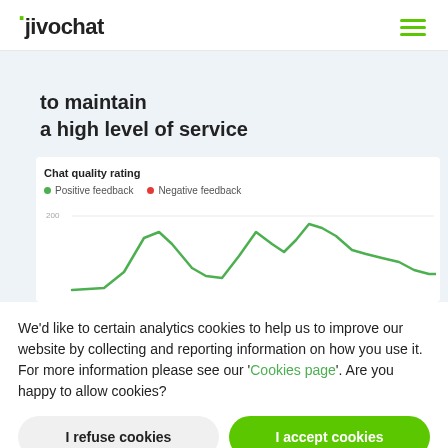jivochat
to maintain a high level of service
[Figure (continuous-plot): Line chart showing Positive feedback (green line) and Negative feedback (red dot legend) over time. Green line shows a wavy pattern with peaks and valleys. Y-axis shows value 200.]
We'd like to certain analytics cookies to help us to improve our website by collecting and reporting information on how you use it. For more information please see our 'Cookies page'. Are you happy to allow cookies?
I refuse cookies
I accept cookies